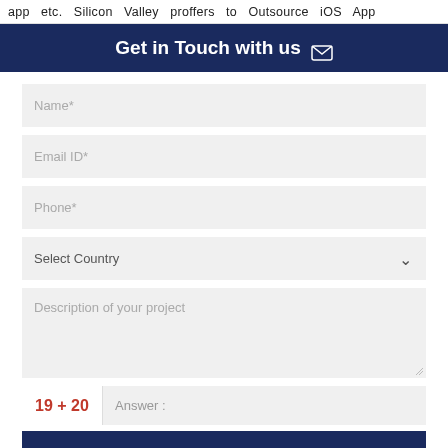app etc. Silicon Valley proffers to Outsource iOS App
Get in Touch with us ✉
Name*
Email ID*
Phone*
Select Country
Description of your project
19 + 20   Answer :
SUBMIT